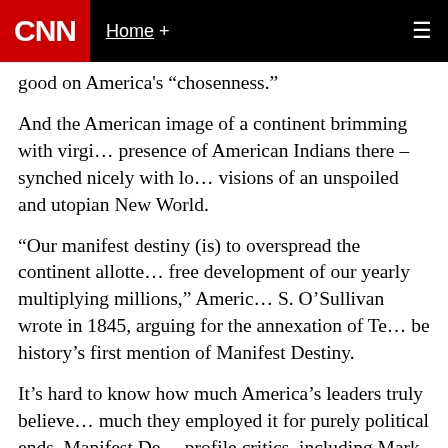CNN  Home +
good on America's “chosenness.”
And the American image of a continent brimming with virgin land – despite the presence of American Indians there – synched nicely with long-held European visions of an unspoiled and utopian New World.
“Our manifest destiny (is) to overspread the continent allotted by Providence for the free development of our yearly multiplying millions,” American journalist John L. S. O’Sullivan wrote in 1845, arguing for the annexation of Texas, in what is thought to be history’s first mention of Manifest Destiny.
It’s hard to know how much America’s leaders truly believed in Manifest Destiny or how much they employed it for purely political ends. Manifest Destiny also attracted high-profile critics, including Mark Twain, who declared himself an anti-imperialist.
“If you’re a cynical person and you see something like the Mexican War as essentially a land grab, you can say this idea of Manifest Destiny was conjured up as ideological tissue for a war of aggression,” Boston University international relations professor Andrew Bacevich said.